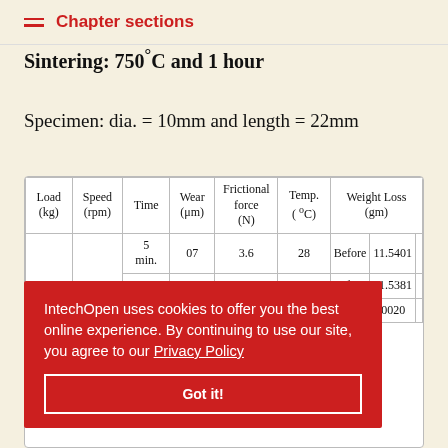Chapter sections
Sintering: 750°C and 1 hour
Specimen: dia. = 10mm and length = 22mm
| Load (kg) | Speed (rpm) | Time | Wear (μm) | Frictional force (N) | Temp. (°C) | Weight Loss (gm) Before | Weight Loss (gm) After | Weight Loss (gm) Diff. |
| --- | --- | --- | --- | --- | --- | --- | --- | --- |
|  |  | 5 min. | 07 | 3.6 | 28 | Before 11.5401 | After 11.5381 | Diff. 00.0020 |
|  |  | 20 |  |  |  |  |  |  |
IntechOpen uses cookies to offer you the best online experience. By continuing to use our site, you agree to our Privacy Policy
Got it!